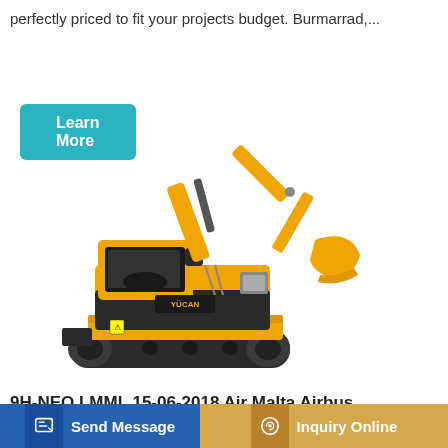perfectly priced to fit your projects budget. Burmarrad,...
[Figure (other): Cyan/teal rounded rectangle button labeled 'Learn More']
[Figure (photo): Yellow and black mini excavator / compact hydraulic excavator on white background]
9H-NEO LMML 15-06-2018 Air Malta Airbus
[Figure (other): Bottom navigation bar with 'Send Message' button (blue) and 'Inquiry Online' button (gold/tan)]